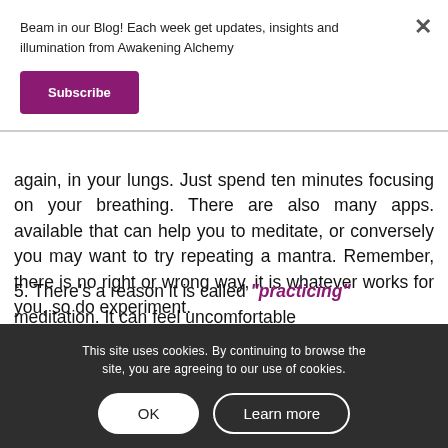Beam in our Blog! Each week get updates, insights and illumination from Awakening Alchemy
Subscribe
again, in your lungs. Just spend ten minutes focusing on your breathing. There are also many apps. available that can help you to meditate, or conversely you may want to try repeating a mantra. Remember, there is no right or wrong way, it is whatever works for you, so do experiment.
This site uses cookies. By continuing to browse the site, you are agreeing to our use of cookies.
OK
Learn more
5. There’s a reason it is called “practicing” meditation. It can feel uncomfortable